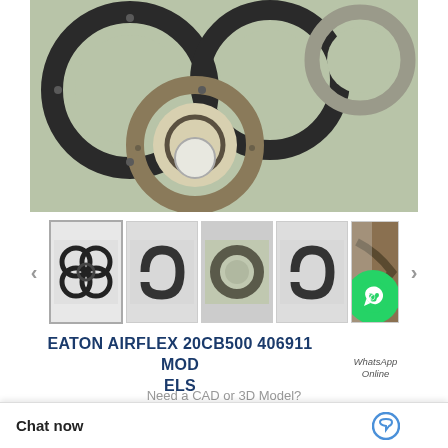[Figure (photo): Large product photo showing multiple Eaton Airflex 20CB500 406911 ring/bearing components arranged overlapping on a light green-grey background]
[Figure (photo): Thumbnail row showing 5 product images of the Eaton Airflex 20CB500 406911 bearing components from different angles, with navigation arrows]
EATON AIRFLEX 20CB500 406911 MODELS
[Figure (logo): WhatsApp green circle icon with phone handset, labeled 'WhatsApp Online']
Need a CAD or 3D Model?
What is 20CB500 406911 bearing cross reference?
Contact Now
Chat now